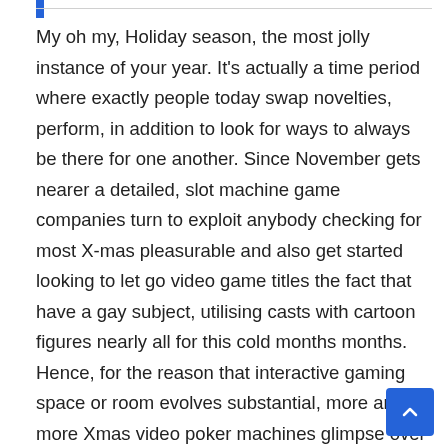My oh my, Holiday season, the most jolly instance of your year. It's actually a time period where exactly people today swap novelties, perform, in addition to look for ways to always be there for one another. Since November gets nearer a detailed, slot machine game companies turn to exploit anybody checking for most X-mas pleasurable and also get started looking to let go video game titles the fact that have a gay subject, utilising casts with cartoon figures nearly all for this cold months months. Hence, for the reason that interactive gaming space or room evolves substantial, more and more Xmas video poker machines glimpse over the Society Extensive Internet when per year takes in to the close. Down the page, most